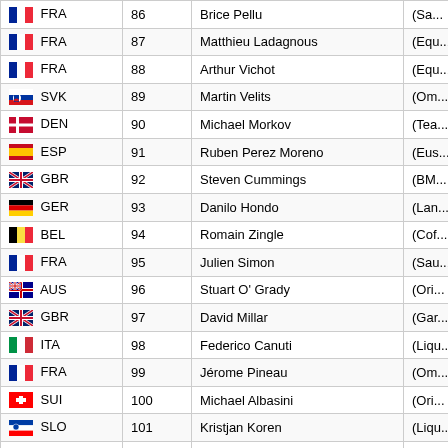| Country | No. | Name | Team (partial) |
| --- | --- | --- | --- |
| FRA | 86 | Brice Pellu | (Sa... |
| FRA | 87 | Matthieu Ladagnous | (Equ... |
| FRA | 88 | Arthur Vichot | (Equ... |
| SVK | 89 | Martin Velits | (Om... |
| DEN | 90 | Michael Morkov | (Tea... |
| ESP | 91 | Ruben Perez Moreno | (Eus... |
| GBR | 92 | Steven Cummings | (BM... |
| GER | 93 | Danilo Hondo | (Lan... |
| BEL | 94 | Romain Zingle | (Cof... |
| FRA | 95 | Julien Simon | (Sau... |
| AUS | 96 | Stuart O' Grady | (Ori... |
| GBR | 97 | David Millar | (Gar... |
| ITA | 98 | Federico Canuti | (Liqu... |
| FRA | 99 | Jérome Pineau | (Om... |
| SUI | 100 | Michael Albasini | (Ori... |
| SLO | 101 | Kristjan Koren | (Liqu... |
| DEN | 102 | Lars Ytting Bak | (Lott... |
| BEL | 103 | Francis De Greef | (Lott... |
| ITA | 104 | Alessandro Vanotti | (Liqu... |
| DEN | 105 | Nicki Sørensen | (Tea... |